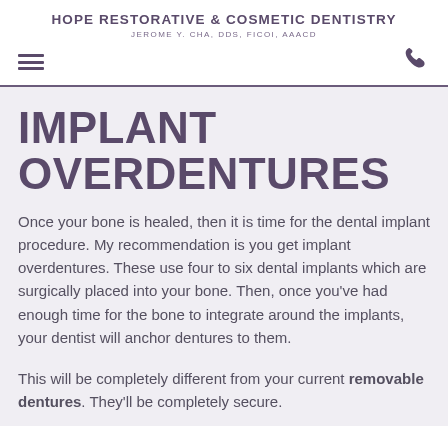HOPE RESTORATIVE & COSMETIC DENTISTRY
JEROME Y. CHA, DDS, FICOI, AAACD
IMPLANT OVERDENTURES
Once your bone is healed, then it is time for the dental implant procedure. My recommendation is you get implant overdentures. These use four to six dental implants which are surgically placed into your bone. Then, once you've had enough time for the bone to integrate around the implants, your dentist will anchor dentures to them.
This will be completely different from your current removable dentures. They'll be completely secure.